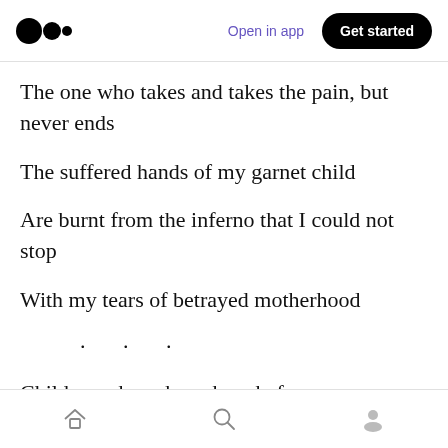Open in app | Get started
The one who takes and takes the pain, but never ends
The suffered hands of my garnet child
Are burnt from the inferno that I could not stop
With my tears of betrayed motherhood
. . .
Child, you have been here before
Home | Search | Profile